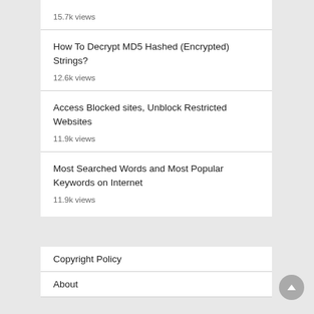15.7k views
How To Decrypt MD5 Hashed (Encrypted) Strings?
12.6k views
Access Blocked sites, Unblock Restricted Websites
11.9k views
Most Searched Words and Most Popular Keywords on Internet
11.9k views
Copyright Policy
About